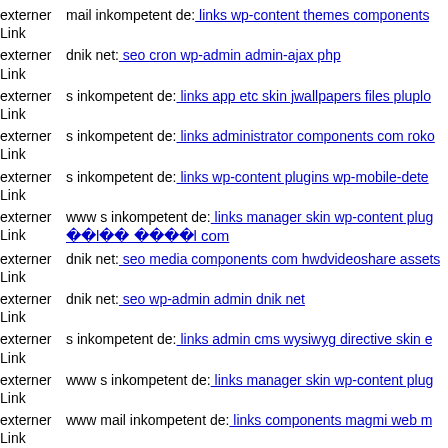externer Link  mail inkompetent de: links wp-content themes components
externer Link  dnik net: seo cron wp-admin admin-ajax php
externer Link  s inkompetent de: links app etc skin jwallpapers files pluplo
externer Link  s inkompetent de: links administrator components com roko
externer Link  s inkompetent de: links wp-content plugins wp-mobile-dete
externer Link  www s inkompetent de: links manager skin wp-content plug ���l�� ����l com
externer Link  dnik net: seo media components com hwdvideoshare assets
externer Link  dnik net: seo wp-admin admin dnik net
externer Link  s inkompetent de: links admin cms wysiwyg directive skin
externer Link  www s inkompetent de: links manager skin wp-content plug
externer Link  www mail inkompetent de: links components magmi web m